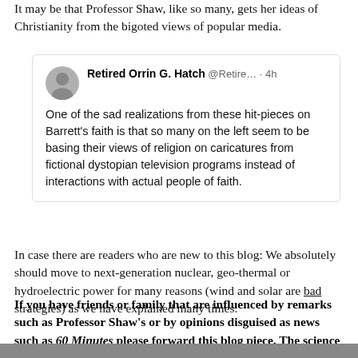It may be that Professor Shaw, like so many, gets her ideas of Christianity from the bigoted views of popular media.
[Figure (screenshot): Embedded tweet from Retired Orrin G. Hatch @Retire... 4h: One of the sad realizations from these hit-pieces on Barrett's faith is that so many on the left seem to be basing their views of religion on caricatures from fictional dystopian television programs instead of interactions with actual people of faith.]
In case there are readers who are new to this blog: We absolutely should move to next-generation nuclear, geothermal or hydroelectric power for many reasons (wind and solar are bad strategies) as we have explained many times.
If you have friends or family that are influenced by remarks such as Professor Shaw's or by opinions disguised as news such as 60 Minutes please forward this blog piece. The science does not justify the gloom and doom of so many.